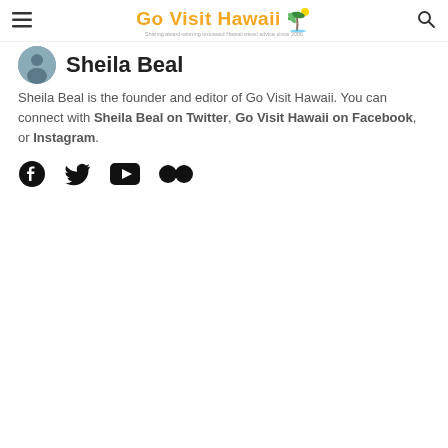Go Visit Hawaii - Sharing award-winning unbiased Hawaii travel advice since 2006
Sheila Beal
Sheila Beal is the founder and editor of Go Visit Hawaii. You can connect with Sheila Beal on Twitter, Go Visit Hawaii on Facebook, or Instagram.
[Figure (other): Social media icons: Facebook, Twitter, YouTube, Flickr]